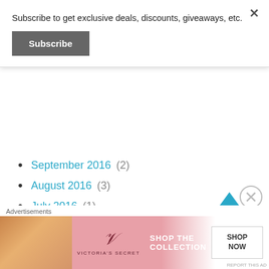Subscribe to get exclusive deals, discounts, giveaways, etc.
Subscribe
September 2016 (2)
August 2016 (3)
July 2016 (1)
June 2016 (7)
May 2016 (3)
April 2016 (3)
March 2016 (4)
February 2016 (4)
Advertisements
[Figure (photo): Victoria's Secret advertisement banner: Shop The Collection, Shop Now button]